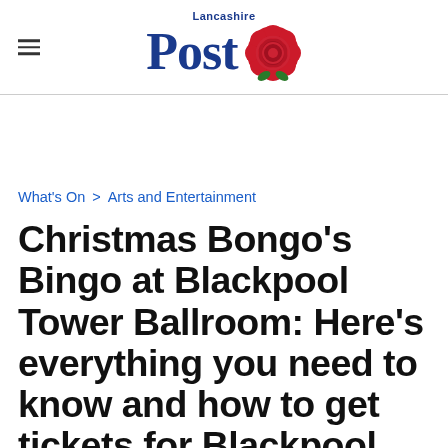Lancashire Post
What's On > Arts and Entertainment
Christmas Bongo's Bingo at Blackpool Tower Ballroom: Here's everything you need to know and how to get tickets for Blackpool